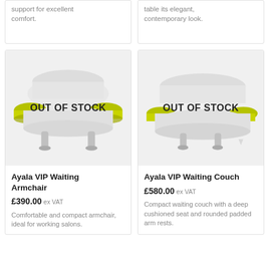support for excellent comfort.
table its elegant, contemporary look.
[Figure (photo): Ayala VIP Waiting Armchair with white body and yellow-green armrests, OUT OF STOCK overlay]
Ayala VIP Waiting Armchair
£390.00 ex VAT
Comfortable and compact armchair, ideal for working salons.
[Figure (photo): Ayala VIP Waiting Couch with white body and yellow-green armrests, OUT OF STOCK overlay]
Ayala VIP Waiting Couch
£580.00 ex VAT
Compact waiting couch with a deep cushioned seat and rounded padded arm rests.